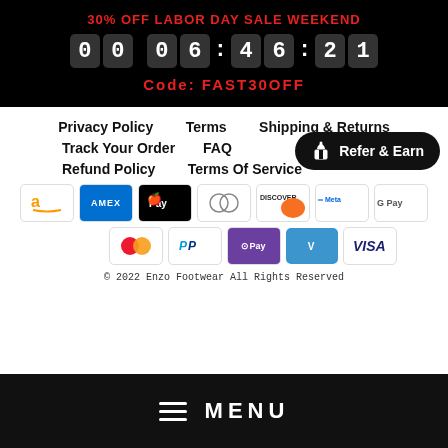30% OFF LABOR DAY SALE WEEKEND
00 06:46:21
Code: FAST30OFF
Privacy Policy
Terms
Shipping & Returns
Track Your Order
FAQ
Refer & Earn
Refund Policy
Terms Of Service
[Figure (other): Payment method icons: Amazon, Amex, Apple Pay, Diners, Discover, Meta Pay, Google Pay, Mastercard, PayPal, OPay, Venmo, Visa]
© 2022 Enzo Footwear All Rights Reserved
≡ MENU